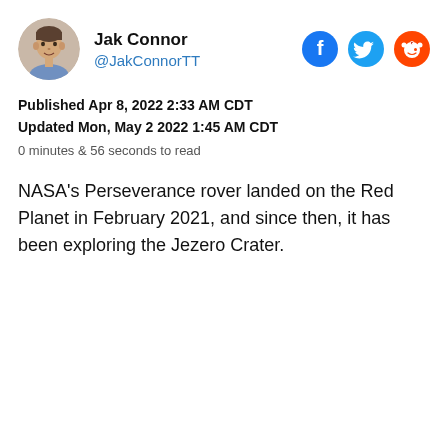[Figure (photo): Circular avatar photo of Jak Connor, a young man with short hair]
Jak Connor
@JakConnorTT
[Figure (other): Social media icons: Facebook (blue circle with f), Twitter (blue circle with bird), Reddit (red circle with alien mascot)]
Published Apr 8, 2022 2:33 AM CDT
Updated Mon, May 2 2022 1:45 AM CDT
0 minutes & 56 seconds to read
NASA's Perseverance rover landed on the Red Planet in February 2021, and since then, it has been exploring the Jezero Crater.